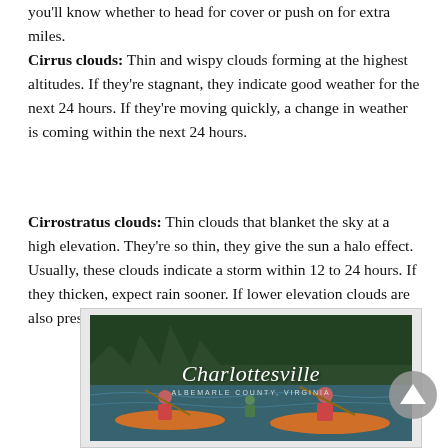you'll know whether to head for cover or push on for extra miles.
Cirrus clouds: Thin and wispy clouds forming at the highest altitudes. If they're stagnant, they indicate good weather for the next 24 hours. If they're moving quickly, a change in weather is coming within the next 24 hours.
Cirrostratus clouds: Thin clouds that blanket the sky at a high elevation. They're so thin, they give the sun a halo effect. Usually, these clouds indicate a storm within 12 to 24 hours. If they thicken, expect rain sooner. If lower elevation clouds are also present, the chance of rain increases.
[Figure (photo): Advertisement or promotional image for Charlottesville, Albemarle County, Virginia showing people kayaking on a river with script text overlay]